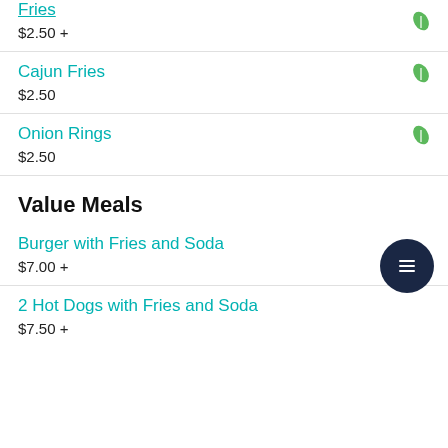Fries
$2.50 +
Cajun Fries
$2.50
Onion Rings
$2.50
Value Meals
Burger with Fries and Soda
$7.00 +
2 Hot Dogs with Fries and Soda
$7.50 +